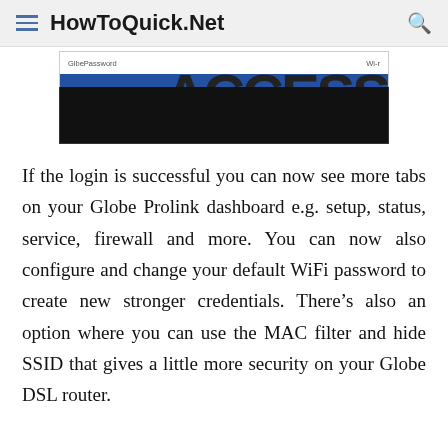HowToQuick.Net
[Figure (screenshot): Partial screenshot of a router admin dashboard with a blue bar and large bold text partially visible, overlaid with a black banner]
If the login is successful you can now see more tabs on your Globe Prolink dashboard e.g. setup, status, service, firewall and more. You can now also configure and change your default WiFi password to create new stronger credentials. There’s also an option where you can use the MAC filter and hide SSID that gives a little more security on your Globe DSL router.